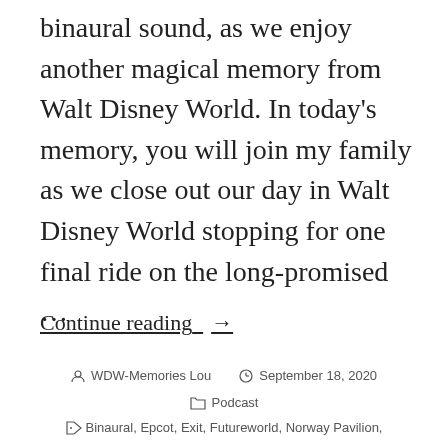binaural sound, as we enjoy another magical memory from Walt Disney World. In today's memory, you will join my family as we close out our day in Walt Disney World stopping for one final ride on the long-promised …
Continue reading →
WDW-Memories Lou   September 18, 2020
Podcast
Binaural, Epcot, Exit, Futureworld, Norway Pavilion,